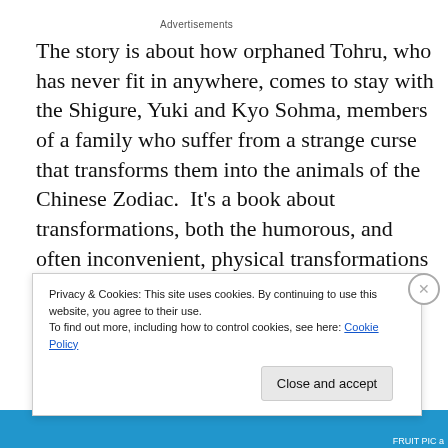Advertisements
The story is about how orphaned Tohru, who has never fit in anywhere, comes to stay with the Shigure, Yuki and Kyo Sohma, members of a family who suffer from a strange curse that transforms them into the animals of the Chinese Zodiac.  It's a book about transformations, both the humorous, and often inconvenient, physical transformations of the Sohmas themselves (and
Privacy & Cookies: This site uses cookies. By continuing to use this website, you agree to their use.
To find out more, including how to control cookies, see here: Cookie Policy
Close and accept